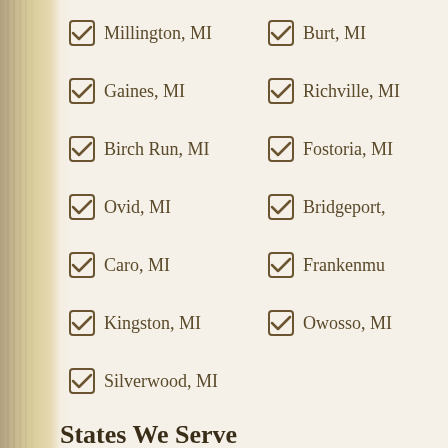Millington, MI
Burt, MI
Gaines, MI
Richville, MI
Birch Run, MI
Fostoria, MI
Ovid, MI
Bridgeport, MI
Caro, MI
Frankenmuth, MI
Kingston, MI
Owosso, MI
Silverwood, MI
States We Serve
Alabama
Arizona
Arkansas
California
Colorado
Connecticut
District of Columbia
Florida